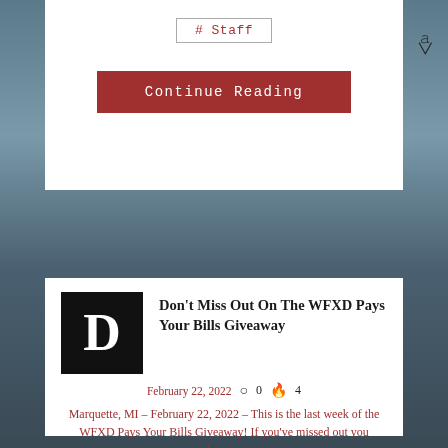# Staff
Continue Reading
[Figure (logo): Black square logo with white letter D]
Don't Miss Out On The WFXD Pays Your Bills Giveaway
February 22, 2022  0  4
Marquette, MI – February 22, 2022 – This is the last week of the WFXD Pays Your Bills Giveaway!  If you've missed out you have…
# Featured Posts